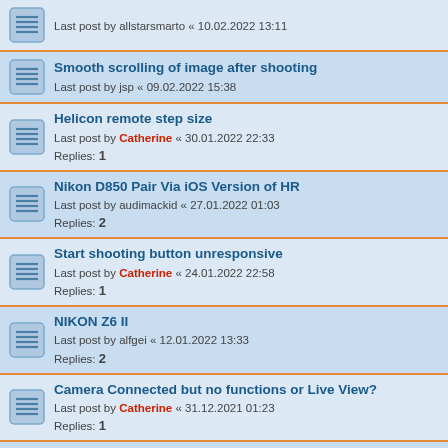Last post by allstarsmarto « 10.02.2022 13:11
Smooth scrolling of image after shooting
Last post by jsp « 09.02.2022 15:38
Helicon remote step size
Last post by Catherine « 30.01.2022 22:33
Replies: 1
Nikon D850 Pair Via iOS Version of HR
Last post by audimackid « 27.01.2022 01:03
Replies: 2
Start shooting button unresponsive
Last post by Catherine « 24.01.2022 22:58
Replies: 1
NIKON Z6 II
Last post by alfgei « 12.01.2022 13:33
Replies: 2
Camera Connected but no functions or Live View?
Last post by Catherine « 31.12.2021 01:23
Replies: 1
Helicon Remote API
Last post by Catherine « 23.12.2021 16:01
Replies: 3
Nikon Z6 connection to Helicon Remote
Last post by Catherine « 23.12.2021 15:52
Replies: 1
USB to iPhone
Last post by Catherine « 23.12.2021 15:45
Replies: 1
This website uses cookies to ensure you get the best experience on our website. Learn more
Got it!